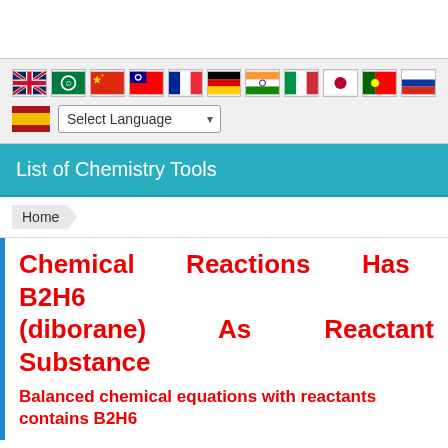[Figure (screenshot): Language selector bar with flags for UK, Arabic, Chinese, Taiwanese, French, German, Indian, Italian, Japanese, Portuguese, Russian, Spanish and a Select Language dropdown]
List of Chemistry Tools
Home
Chemical Reactions Has B2H6 (diborane) As Reactant Substance
Balanced chemical equations with reactants contains B2H6